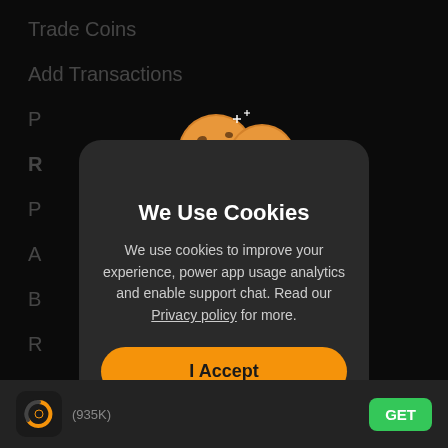Trade Coins
Add Transactions
[Figure (illustration): Cookie consent modal dialog on a dark background app screen. Two smiling cartoon cookie emoji characters appear above the modal. Modal contains title 'We Use Cookies', descriptive text, an orange 'I Accept' button, and a 'Manage' button with dark outline.]
We Use Cookies
We use cookies to improve your experience, power app usage analytics and enable support chat. Read our Privacy policy for more.
I Accept
Manage
(935K)   GET